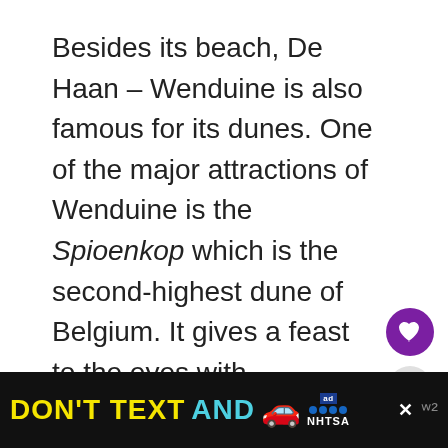Besides its beach, De Haan – Wenduine is also famous for its dunes. One of the major attractions of Wenduine is the Spioenkop which is the second-highest dune of Belgium. It gives a feast to the eyes with panoramic views of the beach and surrounding dunes.

If you are an Insta lover and want to upload some beautiful pictures, you must visit the best Instagram places in Bruges
[Figure (other): Social media share icons: heart (favorite) button in purple circle, and share button with arrow and plus sign in grey circle]
[Figure (infographic): Advertisement banner: black background with yellow text 'DON'T TEXT' and cyan text 'AND', red car emoji, ad badge with blue dots, NHTSA logo, and close button X]